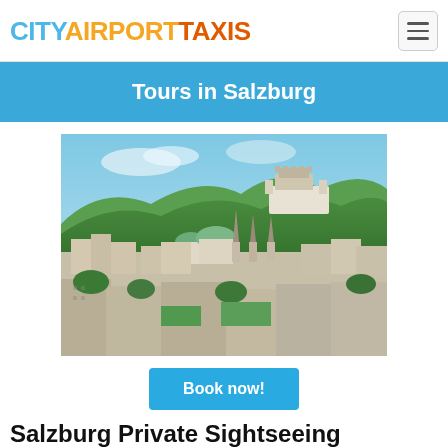CITYAIRPORTTAXIS
Tours in Salzburg
[Figure (photo): Aerial panoramic view of Salzburg, Austria, showing the historic city center with baroque churches, Hohensalzburg Fortress on the hill, green mountains in the background, and city buildings in the foreground.]
Book now!
Salzburg Private Sightseeing